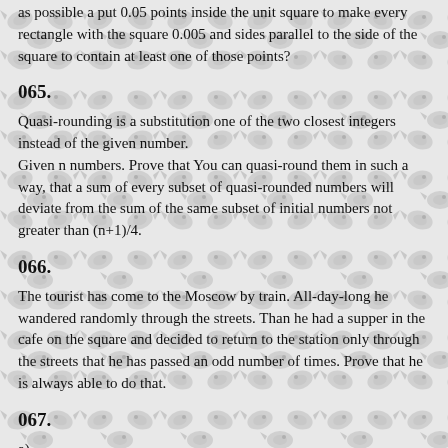as possible a put 0.05 points inside the unit square to make every rectangle with the square 0.005 and sides parallel to the side of the square to contain at least one of those points?
065.
Quasi-rounding is a substitution one of the two closest integers instead of the given number.
Given n numbers. Prove that You can quasi-round them in such a way, that a sum of every subset of quasi-rounded numbers will deviate from the sum of the same subset of initial numbers not greater than (n+1)/4.
066.
The tourist has come to the Moscow by train. All-day-long he wandered randomly through the streets. Than he had a supper in the cafe on the square and decided to return to the station only through the streets that he has passed an odd number of times. Prove that he is always able to do that.
067.
a)
A certain committee has gathered 40 times. There were 10